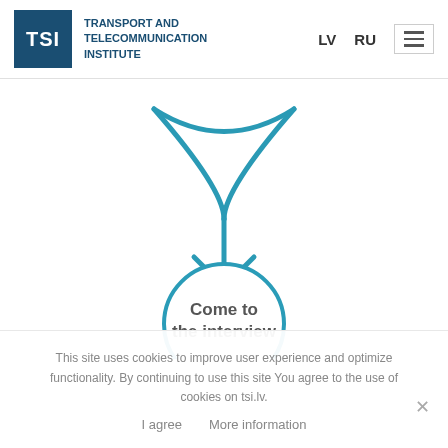[Figure (logo): TSI logo: dark blue square with white TSI text, next to 'TRANSPORT AND TELECOMMUNICATION INSTITUTE' text in dark blue]
[Figure (flowchart): Flowchart showing a funnel/merge arrow pointing downward into a circle labeled 'Come to the interview'. The arrow is teal/blue, and the circle has a teal border with gray text inside.]
This site uses cookies to improve user experience and optimize functionality. By continuing to use this site You agree to the use of cookies on tsi.lv.
I agree   More information